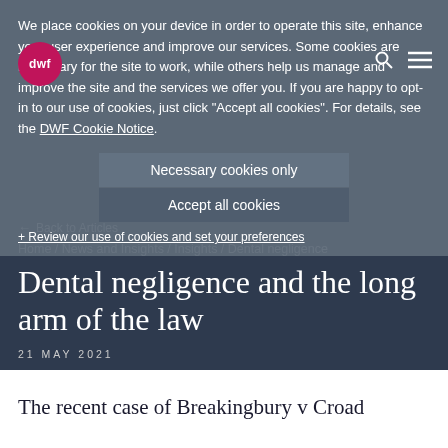DWF - Dental negligence and the long arm of the law
We place cookies on your device in order to operate this site, enhance your user experience and improve our services. Some cookies are necessary for the site to work, while others help us manage and improve the site and the services we offer you. If you are happy to opt-in to our use of cookies, just click "Accept all cookies". For details, see the DWF Cookie Notice.
Necessary cookies only
Accept all cookies
+ Review our use of cookies and set your preferences
Back to Articles
Home / News and Insights / Insights / Dental negligence
Dental negligence and the long arm of the law
21 MAY 2021
The recent case of Breakingbury v Croad